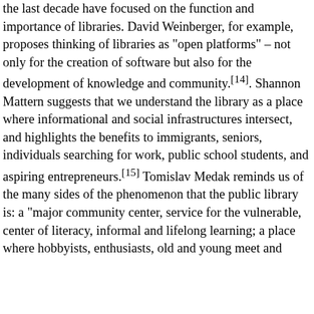the last decade have focused on the function and importance of libraries. David Weinberger, for example, proposes thinking of libraries as "open platforms" – not only for the creation of software but also for the development of knowledge and community.[14]. Shannon Mattern suggests that we understand the library as a place where informational and social infrastructures intersect, and highlights the benefits to immigrants, seniors, individuals searching for work, public school students, and aspiring entrepreneurs.[15] Tomislav Medak reminds us of the many sides of the phenomenon that the public library is: a "major community center, service for the vulnerable, center of literacy, informal and lifelong learning; a place where hobbyists, enthusiasts, old and young meet and